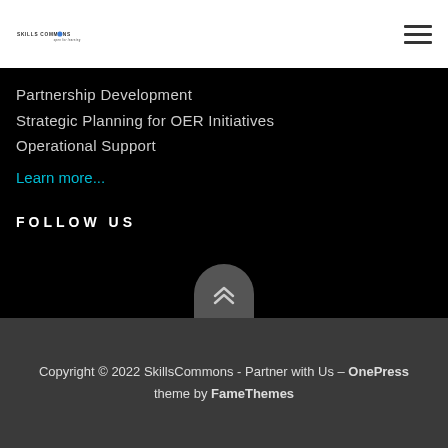[Figure (logo): SkillsCommons logo with gear icon and tagline 'open for learning']
Partnership Development
Strategic Planning for OER Initiatives
Operational Support
Learn more...
FOLLOW US
[Figure (other): Back to top button with double chevron arrows]
Copyright © 2022 SkillsCommons - Partner with Us – OnePress theme by FameThemes